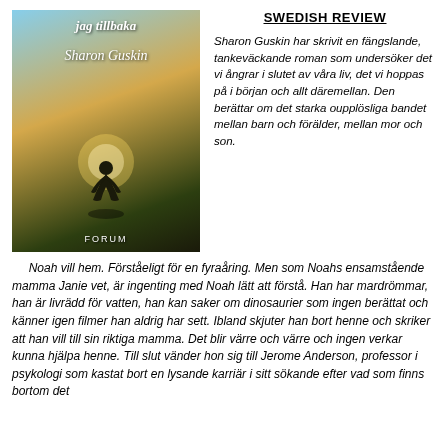[Figure (illustration): Book cover of 'jag tillbaka' by Sharon Guskin, published by Forum. Shows a silhouette of a person kneeling against a bright light background with a sky and field scene. Text at top reads 'jag tillbaka' and author name 'Sharon Guskin'.]
SWEDISH REVIEW
Sharon Guskin har skrivit en fängslande, tankeväckande roman som undersöker det vi ångrar i slutet av våra liv, det vi hoppas på i början och allt däremellan. Den berättar om det starka oupplösliga bandet mellan barn och förälder, mellan mor och son.
Noah vill hem. Förståeligt för en fyraåring. Men som Noahs ensamstående mamma Janie vet, är ingenting med Noah lätt att förstå. Han har mardrömmar, han är livrädd för vatten, han kan saker om dinosaurier som ingen berättat och känner igen filmer han aldrig har sett. Ibland skjuter han bort henne och skriker att han vill till sin riktiga mamma. Det blir värre och värre och ingen verkar kunna hjälpa henne. Till slut vänder hon sig till Jerome Anderson, professor i psykologi som kastat bort en lysande karriär i sitt sökande efter vad som finns bortom det